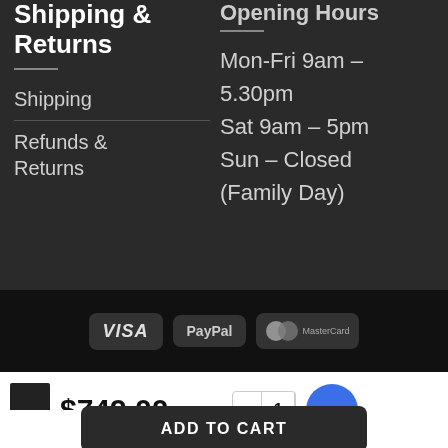Shipping & Returns
Shipping
Refunds & Returns
Opening Hours
Mon-Fri 9am - 5.30pm
Sat 9am - 5pm
Sun - Closed (Family Day)
[Figure (logo): Payment method badges: VISA, PayPal, MasterCard]
$749.00 inc. GST
ADD TO CART